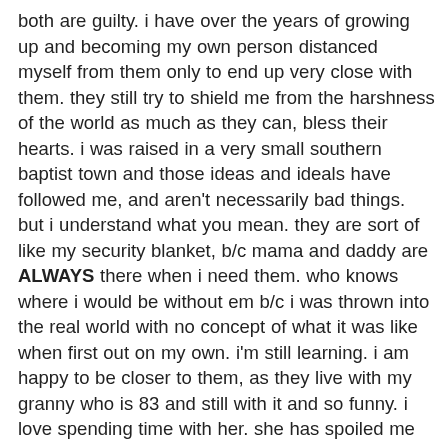both are guilty. i have over the years of growing up and becoming my own person distanced myself from them only to end up very close with them. they still try to shield me from the harshness of the world as much as they can, bless their hearts. i was raised in a very small southern baptist town and those ideas and ideals have followed me, and aren't necessarily bad things. but i understand what you mean. they are sort of like my security blanket, b/c mama and daddy are ALWAYS there when i need them. who knows where i would be without em b/c i was thrown into the real world with no concept of what it was like when first out on my own. i'm still learning. i am happy to be closer to them, as they live with my granny who is 83 and still with it and so funny. i love spending time with her. she has spoiled me my whole life, as she was the one who kept me while mom and dad were at work and picked my brother and i up from school...etc....i am lucky to